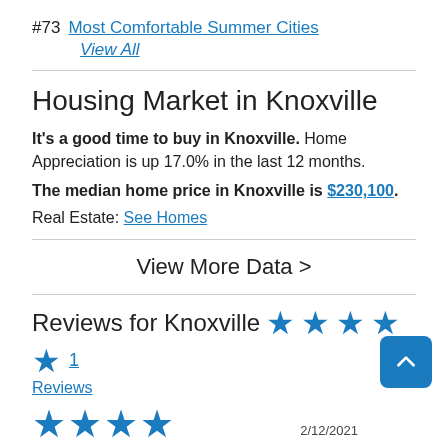#73  Most Comfortable Summer Cities  View All
Housing Market in Knoxville
It's a good time to buy in Knoxville. Home Appreciation is up 17.0% in the last 12 months.
The median home price in Knoxville is $230,100.
Real Estate: See Homes
View More Data >
Reviews for Knoxville  ★★★★★  1 Reviews